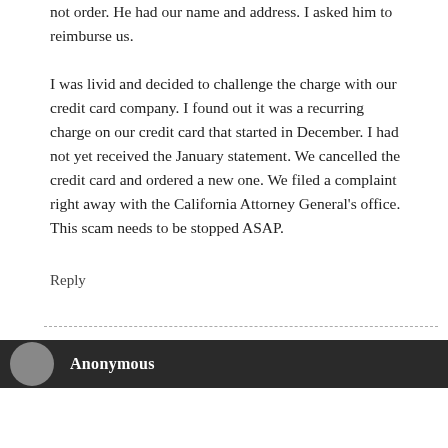not order. He had our name and address. I asked him to reimburse us.

I was livid and decided to challenge the charge with our credit card company. I found out it was a recurring charge on our credit card that started in December. I had not yet received the January statement. We cancelled the credit card and ordered a new one. We filed a complaint right away with the California Attorney General's office. This scam needs to be stopped ASAP.
Reply
Anonymous